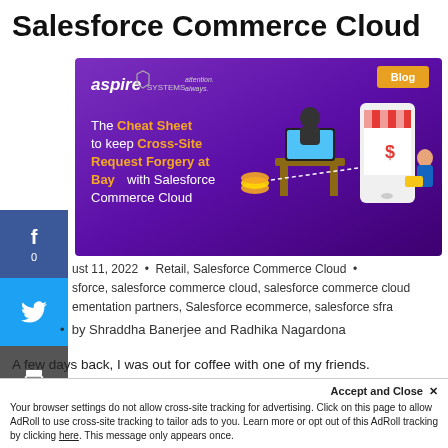Salesforce Commerce Cloud
[Figure (illustration): Aspire Systems blog banner with purple background showing a hacker at a desk with coins and a phone store graphic. Text reads: The Cheat Sheet to keep Cross-Site Request Forgery at Bay with Salesforce Commerce Cloud]
August 11, 2022 • Retail, Salesforce Commerce Cloud • salesforce, salesforce commerce cloud, salesforce commerce cloud implementation partners, Salesforce ecommerce, salesforce sfra
by Shraddha Banerjee and Radhika Nagardona
A few days back, I was out for coffee with one of my friends. And as we conversed about everything under the sun, I got to
Accept and Close ✕
Your browser settings do not allow cross-site tracking for advertising. Click on this page to allow AdRoll to use cross-site tracking to tailor ads to you. Learn more or opt out of this AdRoll tracking by clicking here. This message only appears once.